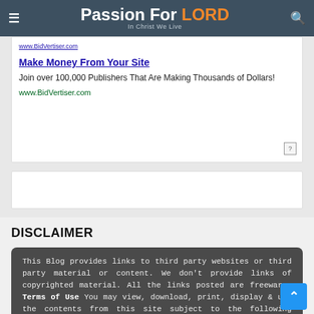Passion For LORD — In Christ We Live
www.BidVertiser.com
Make Money From Your Site
Join over 100,000 Publishers That Are Making Thousands of Dollars!
www.BidVertiser.com
DISCLAIMER
This Blog provides links to third party websites or third party material or content. We don't provide links of copyrighted material. All the links posted are freeware. Terms of Use You may view, download, print, display & use the contents from this site subject to the following conditions: The